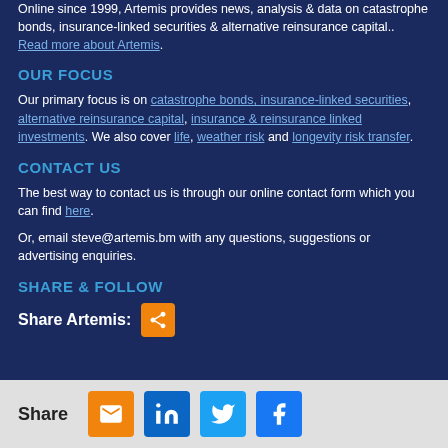Online since 1999, Artemis provides news, analysis & data on catastrophe bonds, insurance-linked securities & alternative reinsurance capital.. Read more about Artemis.
OUR FOCUS
Our primary focus is on catastrophe bonds, insurance-linked securities, alternative reinsurance capital, insurance & reinsurance linked investments. We also cover life, weather risk and longevity risk transfer.
CONTACT US
The best way to contact us is through our online contact form which you can find here.
Or, email steve@artemis.bm with any questions, suggestions or advertising enquiries.
SHARE & FOLLOW
Share Artemis:
[Figure (infographic): Share bar with email, LinkedIn, Twitter, and Facebook icons on a grey background]